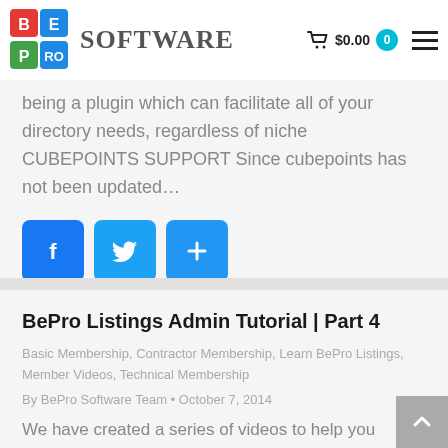[Figure (logo): BePro Software logo with colorful letter blocks (BE, PRO) and 'SOFTWARE' text]
being a plugin which can facilitate all of your directory needs, regardless of niche CUBEPOINTS SUPPORT Since cubepoints has not been updated…
[Figure (infographic): Social sharing buttons: Facebook (f), Twitter (bird), and a share (+) button, all in blue]
BePro Listings Admin Tutorial | Part 4
Basic Membership, Contractor Membership, Learn BePro Listings, Member Videos, Technical Membership
By BePro Software Team • October 7, 2014
We have created a series of videos to help you